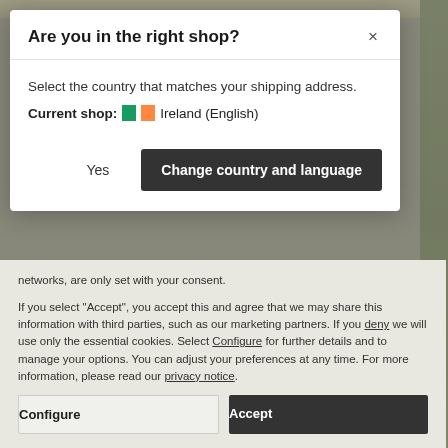Are you in the right shop?
Select the country that matches your shipping address.
Current shop: Ireland (English)
Yes
Change country and language
networks, are only set with your consent.
If you select "Accept", you accept this and agree that we may share this information with third parties, such as our marketing partners. If you deny we will use only the essential cookies. Select Configure for further details and to manage your options. You can adjust your preferences at any time. For more information, please read our privacy notice.
Configure
Accept